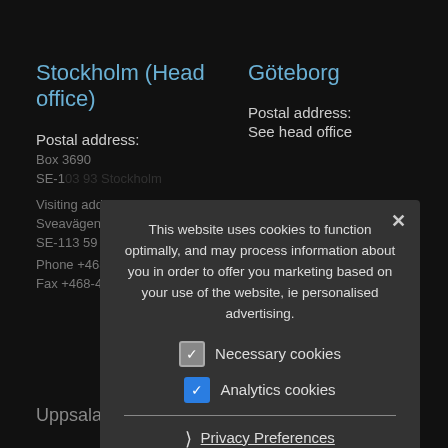Stockholm (Head office)
Postal address:
Box 3690
SE-1...
Visiting address:
Sveavägen 63
SE-113 59 Stockholm
Phone +468-429 10 00
Fax +468-429 10 7...
Göteborg
Postal address:
See head office
...Phone +4631-382 28 31
This website uses cookies to function optimally, and may process information about you in order to offer you marketing based on your use of the website, ie personalised advertising.
Necessary cookies
Analytics cookies
Privacy Preferences
I Agree
Uppsala
...elmo